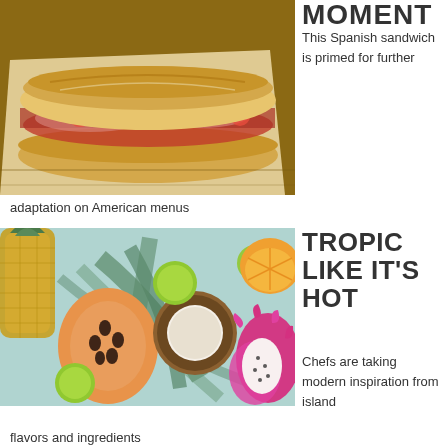[Figure (photo): A Spanish sandwich (bocadillo) on parchment paper on a wooden cutting board, with cured meats and tomatoes visible]
MOMENT
This Spanish sandwich is primed for further adaptation on American menus
[Figure (photo): Tropical fruits arranged on a light teal background including pineapple, papaya, coconut, dragon fruit, limes, and orange, with palm leaves]
TROPIC LIKE IT'S HOT
Chefs are taking modern inspiration from island flavors and ingredients